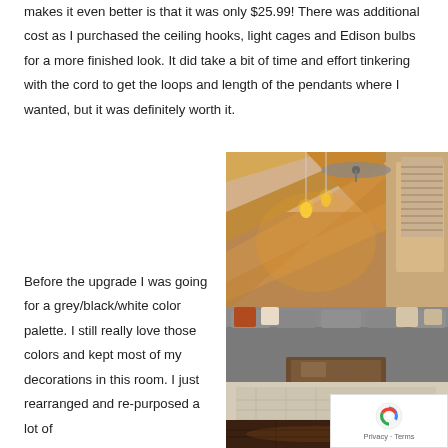makes it even better is that it was only $25.99! There was additional cost as I purchased the ceiling hooks, light cages and Edison bulbs for a more finished look. It did take a bit of time and effort tinkering with the cord to get the loops and length of the pendants where I wanted, but it was definitely worth it.
[Figure (photo): Living room with geometric wood accent wall featuring diagonal planks, pendant Edison bulb lights hanging from ceiling, gray sectional sofa with orange and white pillows, patterned rug, dark hardwood floor, and ceiling fan visible.]
Before the upgrade I was going for a grey/black/white color palette. I still really love those colors and kept most of my decorations in this room. I just rearranged and re-purposed a lot of